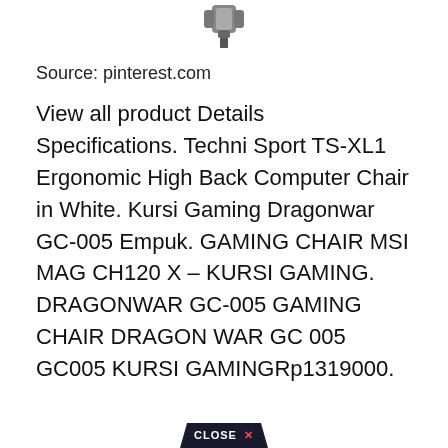[Figure (photo): Small image of a gaming chair component or accessory, shown at the top center of the page]
Source: pinterest.com
View all product Details Specifications. Techni Sport TS-XL1 Ergonomic High Back Computer Chair in White. Kursi Gaming Dragonwar GC-005 Empuk. GAMING CHAIR MSI MAG CH120 X - KURSI GAMING. DRAGONWAR GC-005 GAMING CHAIR DRAGON WAR GC 005 GC005 KURSI GAMINGRp1319000.
[Figure (other): Close button with dark background and red X, trapezoid-shaped, at bottom center]